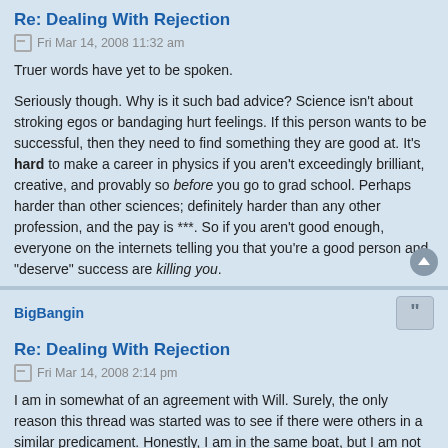Re: Dealing With Rejection
Fri Mar 14, 2008 11:32 am
Truer words have yet to be spoken.

Seriously though. Why is it such bad advice? Science isn't about stroking egos or bandaging hurt feelings. If this person wants to be successful, then they need to find something they are good at. It's hard to make a career in physics if you aren't exceedingly brilliant, creative, and provably so before you go to grad school. Perhaps harder than other sciences; definitely harder than any other profession, and the pay is ***. So if you aren't good enough, everyone on the internets telling you that you're a good person and "deserve" success are killing you.
BigBangin
Re: Dealing With Rejection
Fri Mar 14, 2008 2:14 pm
I am in somewhat of an agreement with Will. Surely, the only reason this thread was started was to see if there were others in a similar predicament. Honestly, I am in the same boat, but I am not going to give up because I am stubborn and refuse to give up so easily. The thread starter certainly got the chip on his/her shoulder knocked off with this grim